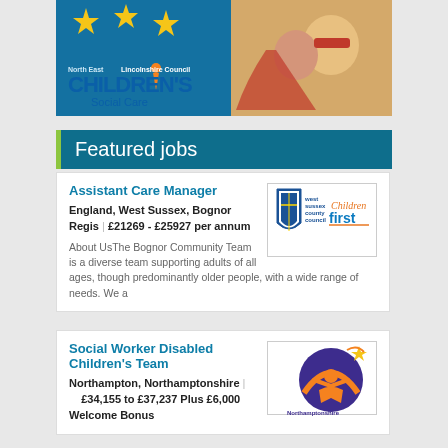[Figure (illustration): North East Lincolnshire Council Children's Social Care banner with blue background, gold stars, children in superhero costumes, and council branding]
Featured jobs
Assistant Care Manager
England, West Sussex, Bognor Regis | £21269 - £25927 per annum
[Figure (logo): West Sussex County Council Children First logo]
About UsThe Bognor Community Team is a diverse team supporting adults of all ages, though predominantly older people, with a wide range of needs. We a
Social Worker Disabled Children's Team
Northampton, Northamptonshire | £34,155 to £37,237 Plus £6,000 Welcome Bonus
[Figure (logo): Northamptonshire Children's Trust logo with orange figure and purple circle]